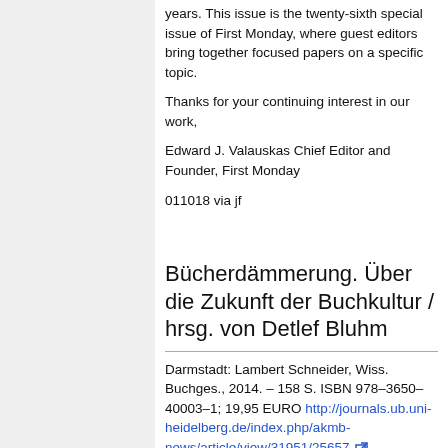years. This issue is the twenty-sixth special issue of First Monday, where guest editors bring together focused papers on a specific topic.
Thanks for your continuing interest in our work,
Edward J. Valauskas Chief Editor and Founder, First Monday
011018 via jf
Bücherdämmerung. Über die Zukunft der Buchkultur / hrsg. von Detlef Bluhm
Darmstadt: Lambert Schneider, Wiss. Buchges., 2014. – 158 S. ISBN 978–3650–40003–1; 19,95 EURO http://journals.ub.uni-heidelberg.de/index.php/akmb-news/article/view/31951/25657
ZEN...